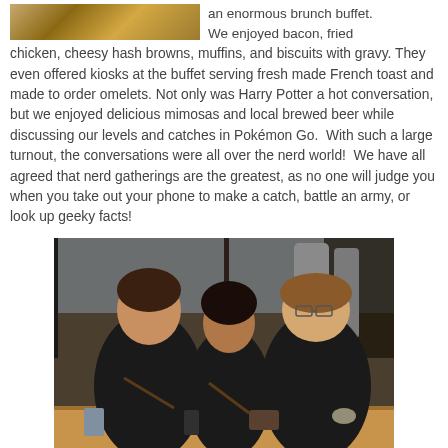[Figure (photo): Partial photo of food at top of page, cropped]
an enormous brunch buffet. We enjoyed bacon, fried chicken, cheesy hash browns, muffins, and biscuits with gravy. They even offered kiosks at the buffet serving fresh made French toast and made to order omelets. Not only was Harry Potter a hot conversation, but we enjoyed delicious mimosas and local brewed beer while discussing our levels and catches in Pokémon Go.  With such a large turnout, the conversations were all over the nerd world!  We have all agreed that nerd gatherings are the greatest, as no one will judge you when you take out your phone to make a catch, battle an army, or look up geeky facts!
[Figure (photo): Three women sitting at a wooden table in what appears to be a brewery or restaurant, smiling at the camera]